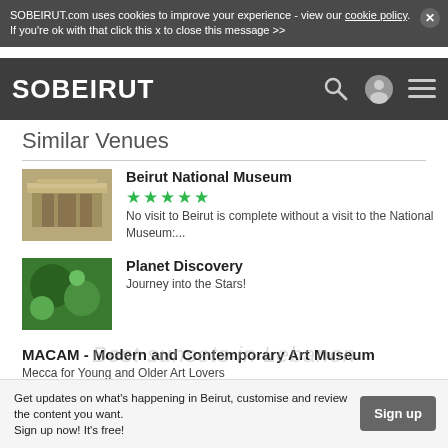SOBEIRUT.com uses cookies to improve your experience - view our cookie policy. If you're ok with that click this x to close this message >>
[Figure (screenshot): SOBEIRUT navigation bar with logo, search icon, user icon, and menu icon]
Similar Venues
Beirut National Museum - No visit to Beirut is complete without a visit to the National Museum:...
Planet Discovery - Journey into the Stars!
MACAM - Modern and Contemporary Art Museum - Mecca for Young and Older Art Lovers
Sidon Soap Museum - Khan al Saboun - The secrets of soap making in Sidon
Baalbeck Museum - Along with your visit to the Ruins, pass by Baalbeck Museum
Get updates on what's happening in Beirut, customise and review the content you want. Sign up now! It's free!